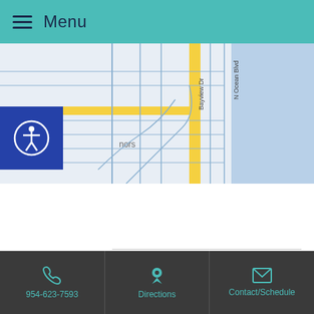Menu
[Figure (map): Street map showing Bayview Dr, N Ocean Blvd, and surrounding streets near Fort Lauderdale area]
| Day | Hours |
| --- | --- |
| Mon | 9am - 7pm |
| Tue | 9am - 7pm |
| Wed | 9am - 7pm |
| Thu | 9am - 7pm |
954-623-7593  |  Directions  |  Contact/Schedule